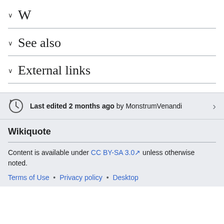W
See also
External links
Last edited 2 months ago by MonstrumVenandi
Wikiquote
Content is available under CC BY-SA 3.0 unless otherwise noted.
Terms of Use • Privacy policy • Desktop